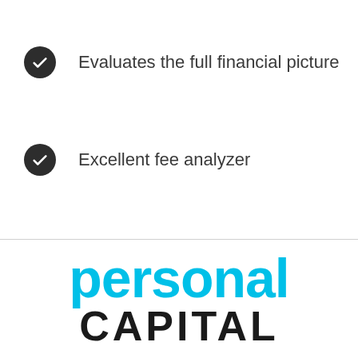Evaluates the full financial picture
Excellent fee analyzer
Visualize portfolio allocation and performance.
[Figure (logo): Personal Capital logo with 'personal' in cyan/blue and 'CAPITAL' in dark/black bold text]